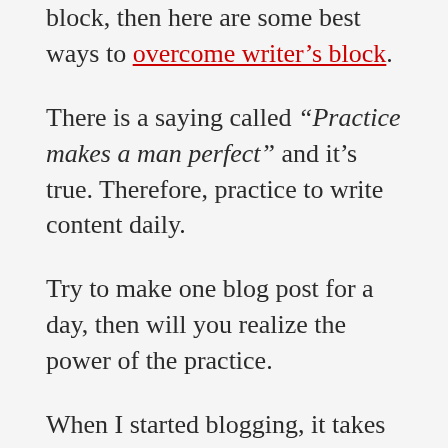block, then here are some best ways to overcome writer’s block.
There is a saying called “Practice makes a man perfect” and it’s true. Therefore, practice to write content daily.
Try to make one blog post for a day, then will you realize the power of the practice.
When I started blogging, it takes me one day to write a 500-word blog post. Then after a certain period, it takes only 3 to 4